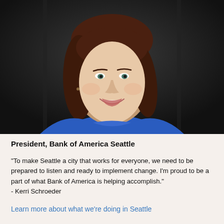[Figure (photo): Professional headshot of a woman with brown shoulder-length hair, wearing a royal blue sleeveless top, smiling, against a dark grey background. Identified as Kerri Schroeder, President of Bank of America Seattle.]
President, Bank of America Seattle
"To make Seattle a city that works for everyone, we need to be prepared to listen and ready to implement change. I'm proud to be a part of what Bank of America is helping accomplish." - Kerri Schroeder
Learn more about what we’re doing in Seattle